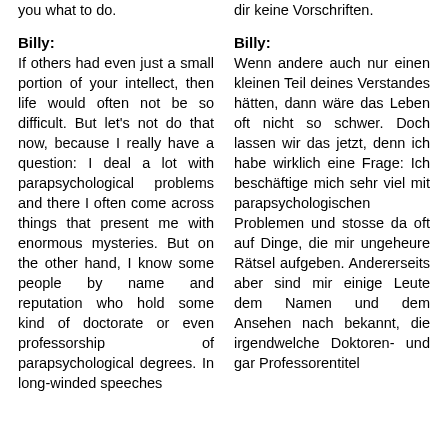you what to do.
dir keine Vorschriften.
Billy:
Billy:
If others had even just a small portion of your intellect, then life would often not be so difficult. But let's not do that now, because I really have a question: I deal a lot with parapsychological problems and there I often come across things that present me with enormous mysteries. But on the other hand, I know some people by name and reputation who hold some kind of doctorate or even professorship of parapsychological degrees. In long-winded speeches
Wenn andere auch nur einen kleinen Teil deines Verstandes hätten, dann wäre das Leben oft nicht so schwer. Doch lassen wir das jetzt, denn ich habe wirklich eine Frage: Ich beschäftige mich sehr viel mit parapsychologischen Problemen und stosse da oft auf Dinge, die mir ungeheure Rätsel aufgeben. Andererseits aber sind mir einige Leute dem Namen und dem Ansehen nach bekannt, die irgendwelche Doktoren- und gar Professorentitel